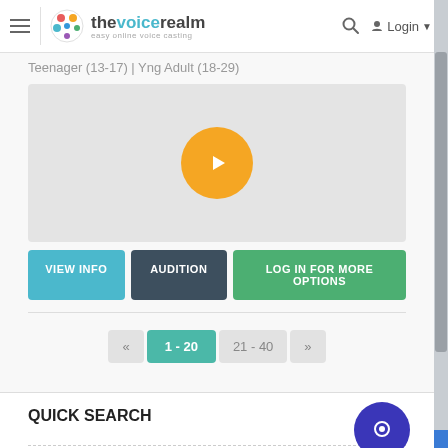thevoicerealm — easy online voice casting | Login
Teenager (13-17) | Yng Adult (18-29)
[Figure (other): Audio player card with yellow play button circle on gray background]
VIEW INFO
AUDITION
LOG IN FOR MORE OPTIONS
« 1 - 20  21 - 40  »
QUICK SEARCH
Male